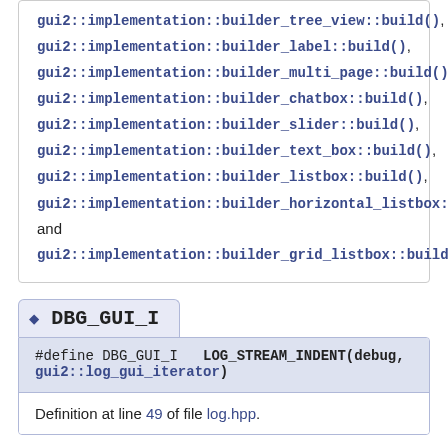gui2::implementation::builder_tree_view::build(), gui2::implementation::builder_label::build(), gui2::implementation::builder_multi_page::build(), gui2::implementation::builder_chatbox::build(), gui2::implementation::builder_slider::build(), gui2::implementation::builder_text_box::build(), gui2::implementation::builder_listbox::build(), gui2::implementation::builder_horizontal_listbox::build(), and gui2::implementation::builder_grid_listbox::build().
◆ DBG_GUI_I
#define DBG_GUI_I   LOG_STREAM_INDENT(debug, gui2::log_gui_iterator)
Definition at line 49 of file log.hpp.
◆ DBG_GUI_L